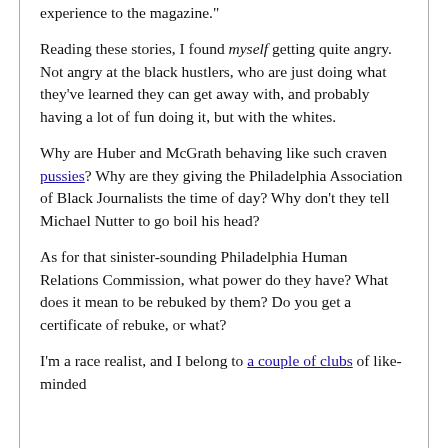experience to the magazine."
Reading these stories, I found myself getting quite angry. Not angry at the black hustlers, who are just doing what they've learned they can get away with, and probably having a lot of fun doing it, but with the whites.
Why are Huber and McGrath behaving like such craven pussies? Why are they giving the Philadelphia Association of Black Journalists the time of day? Why don't they tell Michael Nutter to go boil his head?
As for that sinister-sounding Philadelphia Human Relations Commission, what power do they have? What does it mean to be rebuked by them? Do you get a certificate of rebuke, or what?
I'm a race realist, and I belong to a couple of clubs of like-minded